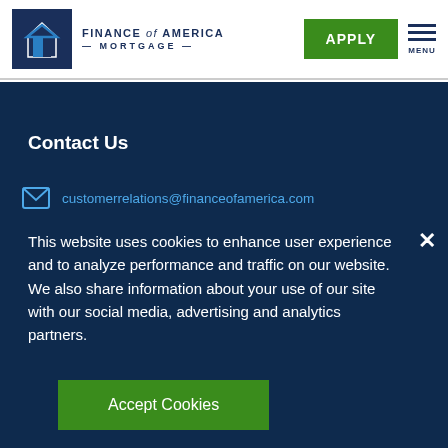[Figure (logo): Finance of America Mortgage logo with house icon and brand name]
APPLY | MENU
Contact Us
customerrelations@financeofamerica.com
This website uses cookies to enhance user experience and to analyze performance and traffic on our website. We also share information about your use of our site with our social media, advertising and analytics partners.
Accept Cookies